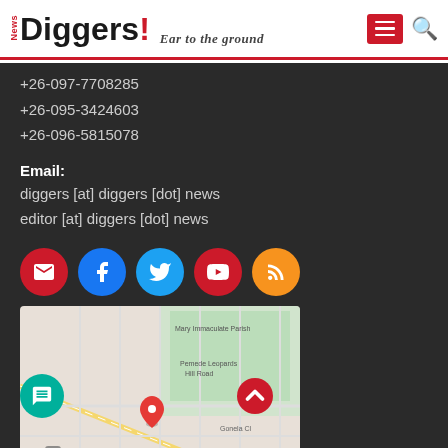News Diggers! Ear to the ground
+26-097-7708285
+26-095-3424603
+26-096-5815078
Email:
diggers [at] diggers [dot] news
editor [at] diggers [dot] news
[Figure (infographic): Social media icon buttons: email (red), facebook (blue), twitter (light blue), youtube (red), RSS (orange)]
[Figure (map): Google Maps screenshot showing a street map location with a red pin marker in what appears to be a Zambian city neighborhood]